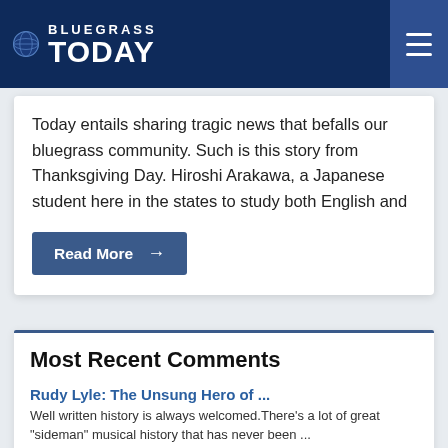Bluegrass Today
Today entails sharing tragic news that befalls our bluegrass community. Such is this story from Thanksgiving Day. Hiroshi Arakawa, a Japanese student here in the states to study both English and
Read More →
Most Recent Comments
Rudy Lyle: The Unsung Hero of ...
Well written history is always welcomed. There's a lot of great "sideman" musical history that has never been ...
Kevin L. - Aug 27, 2022
2022...